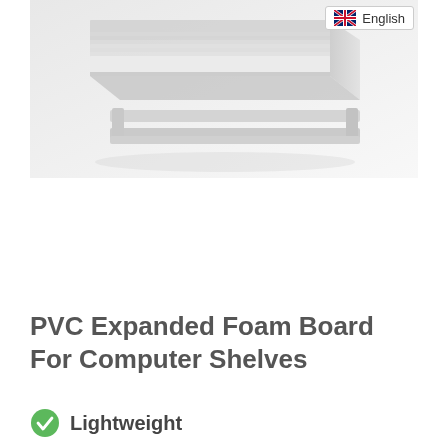[Figure (photo): Photo of white PVC expanded foam board sheets stacked, with an English language flag badge in the upper right corner of the image area.]
PVC Expanded Foam Board For Computer Shelves
Lightweight